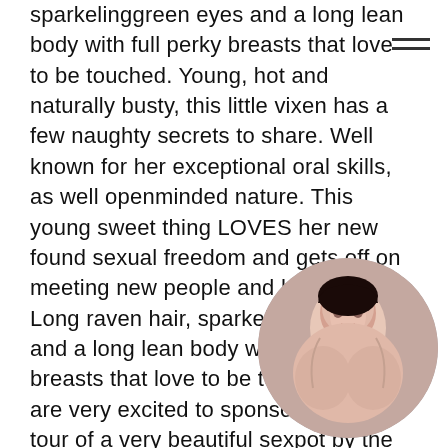sparkelinggreen eyes and a long lean body with full perky breasts that love to be touched. Young, hot and naturally busty, this little vixen has a few naughty secrets to share. Well known for her exceptional oral skills, as well openminded nature. This young sweet thing LOVES her new found sexual freedom and gets off on meeting new people and having fun. Long raven hair, sparkelinggreen eyes and a long lean body with full perky breasts that love to be touched. We are very excited to sponsor the return tour of a very beautiful sexpot by the name of Miley. Well known for her exceptional oral skills, as well openminded nature. And a very energetic, friendly personality. This little lovely knows how to work her body for your pleasure. not to worry she’ s very vocal about what she likes and how she likes it! Sweet, deadly cute and with her natural talents to make you relax and feel at ease, this is the ultimate release. Sweet, deadly cute and with her
[Figure (photo): Circular portrait photo of a woman with dark hair, positioned in the lower right of the page.]